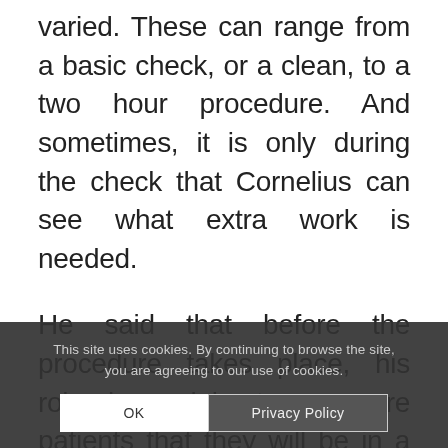varied. These can range from a basic check, or a clean, to a two hour procedure. And sometimes, it is only during the check that Cornelius can see what extra work is needed.
He said that before the procedure takes place, his role is mainly to reassure patients that they will be in a comfortable place. A place where they will be looked after through for the treatment.
“Many patients have built up fear
This site uses cookies. By continuing to browse the site, you are agreeing to our use of cookies.